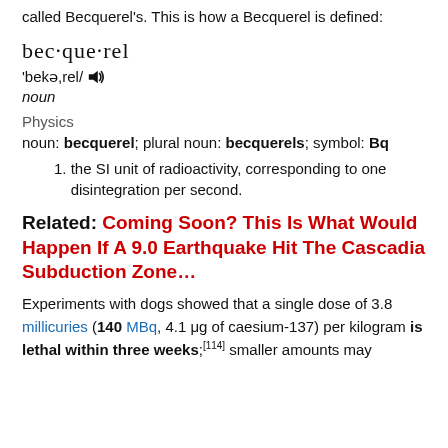called Becquerel's. This is how a Becquerel is defined:
bec·que·rel
'bekə,rel/ [speaker icon]
noun
Physics
noun: becquerel; plural noun: becquerels; symbol: Bq
1. the SI unit of radioactivity, corresponding to one disintegration per second.
Related: Coming Soon? This Is What Would Happen If A 9.0 Earthquake Hit The Cascadia Subduction Zone…
Experiments with dogs showed that a single dose of 3.8 millicuries (140 MBq, 4.1 μg of caesium-137) per kilogram is lethal within three weeks;[114] smaller amounts may